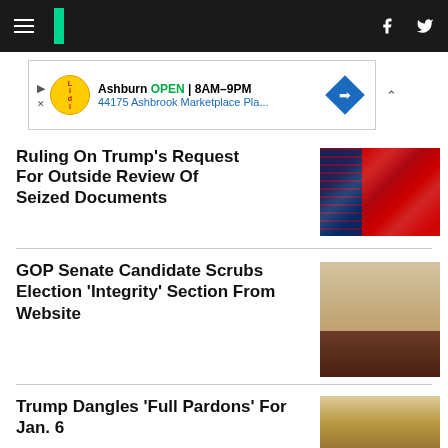HuffPost navigation bar with hamburger menu, logo, facebook and twitter icons
[Figure (screenshot): Ad banner: Ashburn OPEN 8AM-9PM, 44175 Ashbrook Marketplace Pla... with Lidl logo and navigation arrow]
Ruling On Trump's Request For Outside Review Of Seized Documents
[Figure (photo): Photo of American flags with Trump campaign flags in background]
GOP Senate Candidate Scrubs Election ‘Integrity’ Section From Website
[Figure (photo): Photo of a blonde woman in a dark maroon jacket looking to the side]
Trump Dangles 'Full Pardons' For Jan. 6
[Figure (photo): Photo of person wearing a Trump Halloween mask]